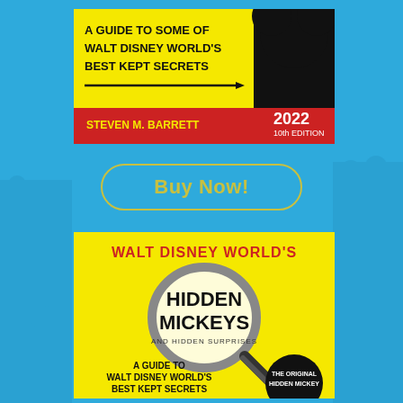[Figure (illustration): Top book cover: 'A Guide to Some of Walt Disney World's Best Kept Secrets' by Steven M. Barrett, 2022 10th Edition, with Hidden Mickeys silhouette on black/yellow/red background]
Buy Now!
[Figure (illustration): Bottom book cover: Walt Disney World's Hidden Mickeys and Hidden Surprises — A Guide to Walt Disney World's Best Kept Secrets, The Original Hidden Mickey, yellow background with magnifying glass graphic]